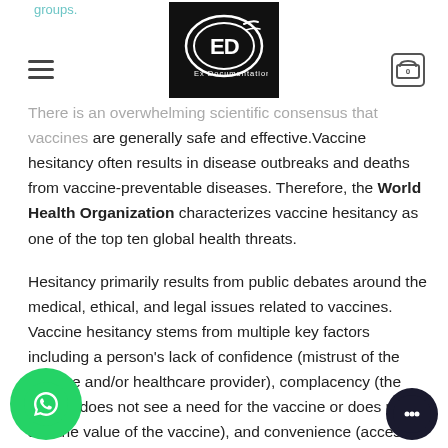groups.
[Figure (logo): Ex Documentation logo — white circular design with 'ED' letters on black background, text 'Ex Documentation' below]
There is an overwhelming scientific consensus that vaccines are generally safe and effective. Vaccine hesitancy often results in disease outbreaks and deaths from vaccine-preventable diseases. Therefore, the World Health Organization characterizes vaccine hesitancy as one of the top ten global health threats.
Hesitancy primarily results from public debates around the medical, ethical, and legal issues related to vaccines. Vaccine hesitancy stems from multiple key factors including a person's lack of confidence (mistrust of the vaccine and/or healthcare provider), complacency (the person does not see a need for the vaccine or does not see the value of the vaccine), and convenience (access to vaccines). It has existed since the introduction of vaccination and pre-dates the coining of the terms "vaccine" and "vaccination" by nearly eighty years.